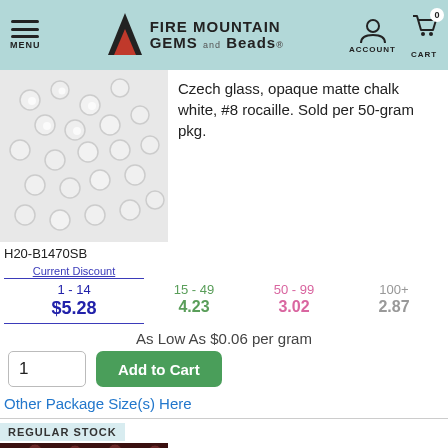MENU | FIRE MOUNTAIN GEMS and Beads | ACCOUNT | CART 0
[Figure (photo): White opaque matte chalk seed beads scattered on white background]
Czech glass, opaque matte chalk white, #8 rocaille. Sold per 50-gram pkg.
H20-B1470SB
| Current Discount | 15 - 49 | 50 - 99 | 100+ |
| --- | --- | --- | --- |
| 1 - 14 | 15 - 49 | 50 - 99 | 100+ |
| $5.28 | 4.23 | 3.02 | 2.87 |
As Low As $0.06 per gram
Other Package Size(s) Here
REGULAR STOCK
[Figure (photo): Dark brown/maroon opaque matte seed beads scattered on white background]
IN STOCK
NEW - Seed bead, Preciosa Ornela, Czech glass, opaque matte dark brown, #14 rocaille. Sold per 50-gram pkg.